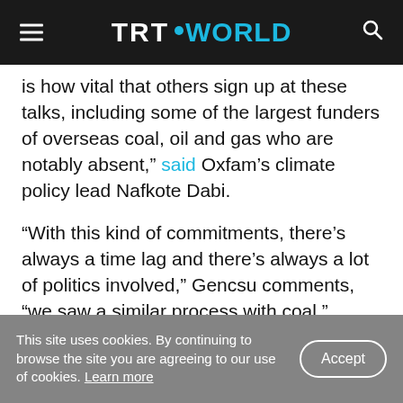TRT WORLD
is how vital that others sign up at these talks, including some of the largest funders of overseas coal, oil and gas who are notably absent," said Oxfam's climate policy lead Nafkote Dabi.
“With this kind of commitments, there's always a time lag and there's always a lot of politics involved,” Gencsu comments, “we saw a similar process with coal.”
The agreement also allows for exceptions, while it targets “unabated” emissions – both of which need
This site uses cookies. By continuing to browse the site you are agreeing to our use of cookies. Learn more